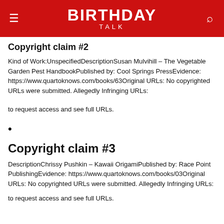BIRTHDAY TALK
Copyright claim #2
Kind of Work:UnspecifiedDescriptionSusan Mulvihill – The Vegetable Garden Pest HandbookPublished by: Cool Springs PressEvidence: https://www.quartoknows.com/books/63Original URLs: No copyrighted URLs were submitted. Allegedly Infringing URLs:
to request access and see full URLs.
•
Copyright claim #3
DescriptionChrissy Pushkin – Kawaii OrigamiPublished by: Race Point PublishingEvidence: https://www.quartoknows.com/books/03Original URLs: No copyrighted URLs were submitted. Allegedly Infringing URLs:
to request access and see full URLs.